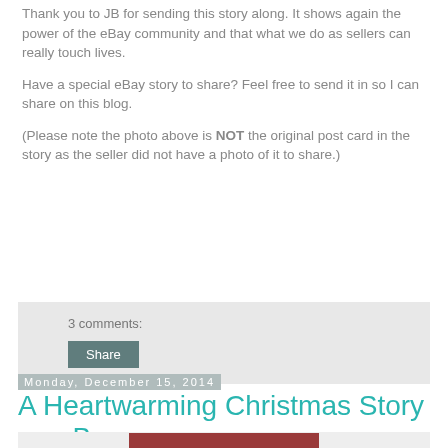Thank you to JB for sending this story along. It shows again the power of the eBay community and that what we do as sellers can really touch lives.
Have a special eBay story to share? Feel free to send it in so I can share on this blog.
(Please note the photo above is NOT the original post card in the story as the seller did not have a photo of it to share.)
3 comments:
Share
Monday, December 15, 2014
A Heartwarming Christmas Story on eBay